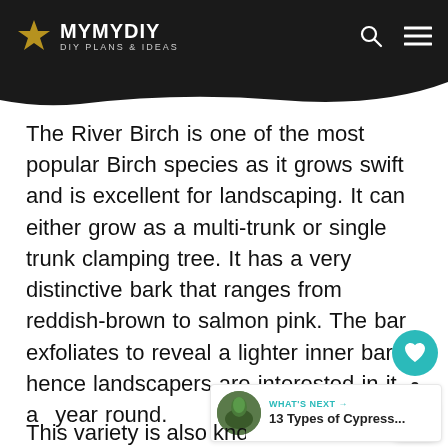MYMYDIY — DIY Plans & Ideas
The River Birch is one of the most popular Birch species as it grows swift and is excellent for landscaping. It can either grow as a multi-trunk or single trunk clamping tree. It has a very distinctive bark that ranges from reddish-brown to salmon pink. The bark exfoliates to reveal a lighter inner bark; hence landscapers are interested in it all year round.
This variety is also known as Black Bark...